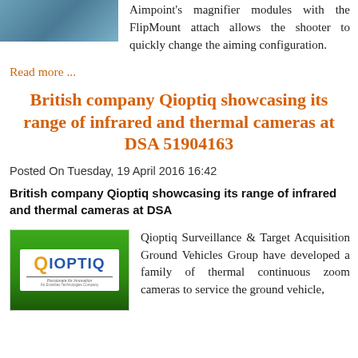[Figure (photo): Partial photo visible at top, showing a blue-toned image]
Aimpoint's magnifier modules with the FlipMount attach allows the shooter to quickly change the aiming configuration.
Read more ...
British company Qioptiq showcasing its range of infrared and thermal cameras at DSA 51904163
Posted On Tuesday, 19 April 2016 16:42
British company Qioptiq showcasing its range of infrared and thermal cameras at DSA
[Figure (logo): Qioptiq logo on green background, white logo box with Q in orange and IOPTIQ in blue, tagline An Excelitas Technologies Company]
Qioptiq Surveillance & Target Acquisition Ground Vehicles Group have developed a family of thermal continuous zoom cameras to service the ground vehicle,